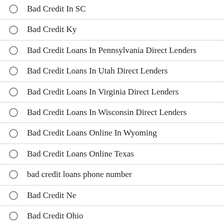Bad Credit In SC
Bad Credit Ky
Bad Credit Loans In Pennsylvania Direct Lenders
Bad Credit Loans In Utah Direct Lenders
Bad Credit Loans In Virginia Direct Lenders
Bad Credit Loans In Wisconsin Direct Lenders
Bad Credit Loans Online In Wyoming
Bad Credit Loans Online Texas
bad credit loans phone number
Bad Credit Ne
Bad Credit Ohio
Bad Credit Online In Louisiana